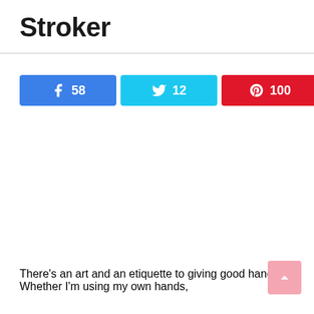Stroker
[Figure (infographic): Social share bar with Facebook (58), Twitter (12), Pinterest (100), Email, and total 170 SHARES]
There’s an art and an etiquette to giving good hand. Whether I’m using my own hands,